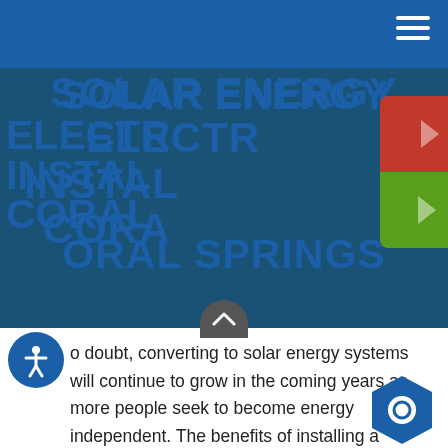SOLAR ENERGY ELECTRICAL INSTALLATIONS IN CORAL SPRINGS
[Figure (infographic): Red button: SCHEDULE SERVICE with arrow. Green button: FINANCING OPTIONS with arrow. Overlaid on the title area.]
No doubt, converting to solar energy systems will continue to grow in the coming years as more people seek to become energy independent. The benefits of installing a system far outweigh complete reliance on utility companies and traditional energy sources. If you have any questions about your solar energy system options or would like to step into the future energy efficient, call Art Plumbing, Air Conditioning &